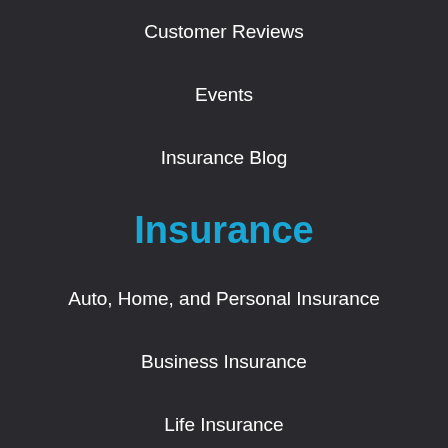Customer Reviews
Events
Insurance Blog
Insurance
Auto, Home, and Personal Insurance
Business Insurance
Life Insurance